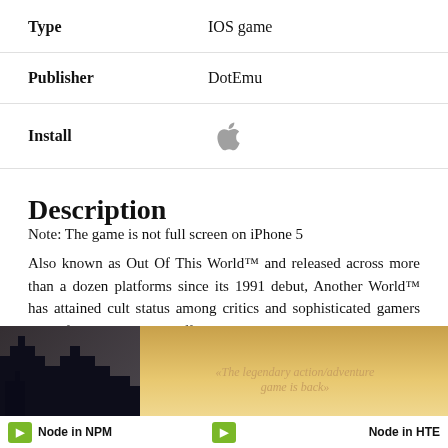| Type | IOS game |
| Publisher | DotEmu |
| Install | (Apple icon) |
Description
Note: The game is not full screen on iPhone 5
Also known as Out Of This World™ and released across more than a dozen platforms since its 1991 debut, Another World™ has attained cult status among critics and sophisticated gamers alike for its cinematic effects in the graphics, sound and cut scenes.
[Figure (screenshot): Screenshot of Another World game with text: «The legendary action/adventure game is back»]
Node in NPM   Node in HTE